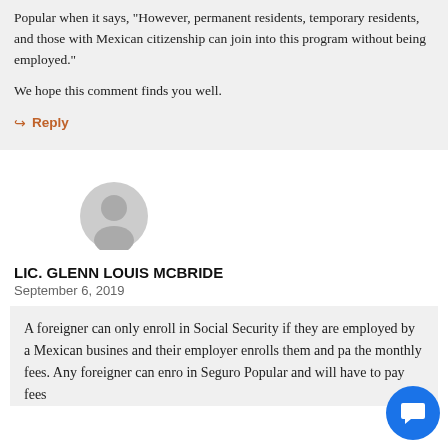Popular when it says, "However, permanent residents, temporary residents, and those with Mexican citizenship can join into this program without being employed."
We hope this comment finds you well.
↪ Reply
[Figure (illustration): Gray default avatar/profile icon — circular silhouette of a person]
LIC. GLENN LOUIS MCBRIDE
September 6, 2019
A foreigner can only enroll in Social Security if they are employed by a Mexican business and their employer enrolls them and pays the monthly fees. Any foreigner can enroll in Seguro Popular and will have to pay fees